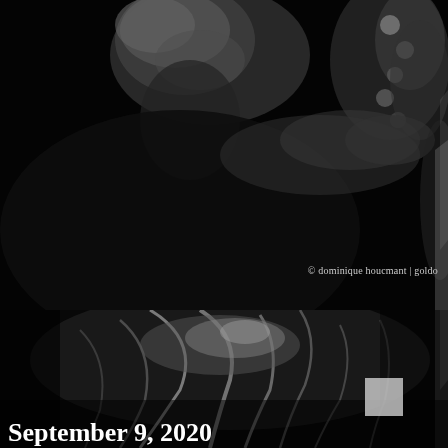[Figure (photo): Black and white photo of a musician playing saxophone or clarinet, shot from below against a dark background, top portion of the page]
© dominique houcmant | goldo
[Figure (photo): Black and white close-up photo of hair with dramatic light streaks, bottom portion of the page]
September 9, 2020